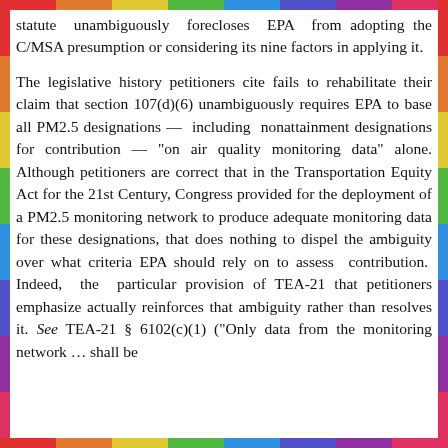statute unambiguously forecloses EPA from adopting the C/MSA presumption or considering its nine factors in applying it.
The legislative history petitioners cite fails to rehabilitate their claim that section 107(d)(6) unambiguously requires EPA to base all PM2.5 designations — including nonattainment designations for contribution — "on air quality monitoring data" alone. Although petitioners are correct that in the Transportation Equity Act for the 21st Century, Congress provided for the deployment of a PM2.5 monitoring network to produce adequate monitoring data for these designations, that does nothing to dispel the ambiguity over what criteria EPA should rely on to assess contribution. Indeed, the particular provision of TEA-21 that petitioners emphasize actually reinforces that ambiguity rather than resolves it. See TEA-21 § 6102(c)(1) ("Only data from the monitoring network … shall be